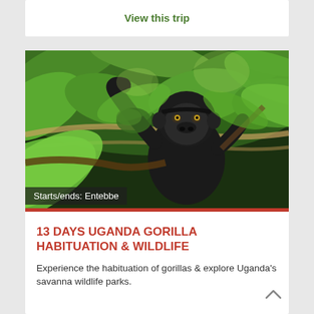View this trip
[Figure (photo): A gorilla among green jungle foliage, looking upward, photographed through leaves and branches in Uganda. Caption overlay: Starts/ends: Entebbe]
13 DAYS UGANDA GORILLA HABITUATION & WILDLIFE
Experience the habituation of gorillas & explore Uganda's savanna wildlife parks.